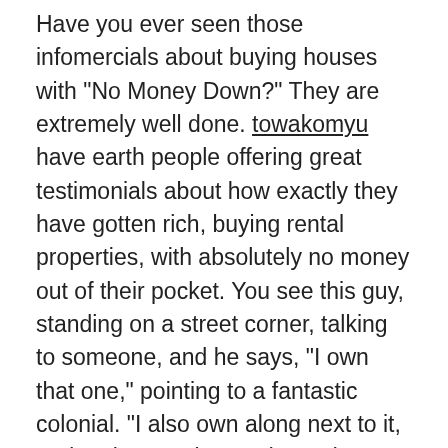Have you ever seen those infomercials about buying houses with "No Money Down?" They are extremely well done. towakomyu have earth people offering great testimonials about how exactly they have gotten rich, buying rental properties, with absolutely no money out of their pocket. You see this guy, standing on a street corner, talking to someone, and he says, "I own that one," pointing to a fantastic colonial. "I also own along next to it, and make certain two doors down, and We are closing on the one directly across the street from it, next week." He then assures us that he has purchased 17 homes in the last eight or ten months, with zero money down on the properties. Plus, in many cases he's also paid no expenses.
Writing helps us get in touch with what's hidden